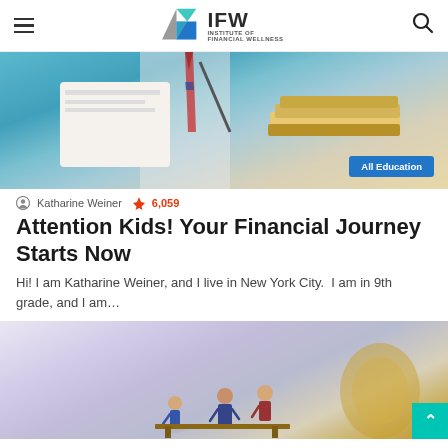IFW INSTITUTE OF FINANCIAL WELLNESS
[Figure (photo): Hero image of a person in a suit with a red striped tie writing at a desk covered with stacked books and papers, teal/blue background. Badge reads 'All Education'.]
Katharine Weiner  🔥 6,059
Attention Kids! Your Financial Journey Starts Now
Hi! I am Katharine Weiner, and I live in New York City.  I am in 9th grade, and I am…
[Figure (photo): Photo of miniature figurines of people (man, woman, and child) sitting on a bench, with a blurred golden object in the background, light purple/lavender background.]